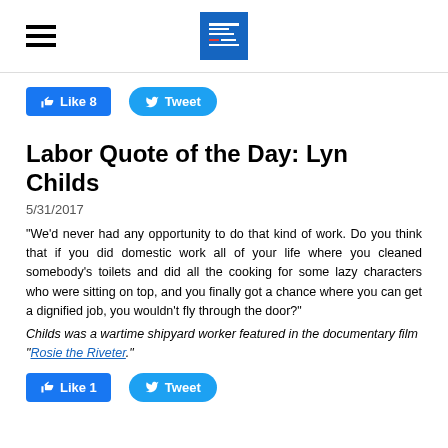[Hamburger menu icon] [Organization logo]
[Figure (logo): Blue square logo of an organization with white text]
Like 8   Tweet
Labor Quote of the Day: Lyn Childs
5/31/2017
"We'd never had any opportunity to do that kind of work. Do you think that if you did domestic work all of your life where you cleaned somebody's toilets and did all the cooking for some lazy characters who were sitting on top, and you finally got a chance where you can get a dignified job, you wouldn't fly through the door?"
Childs was a wartime shipyard worker featured in the documentary film "Rosie the Riveter."
Like 1   Tweet